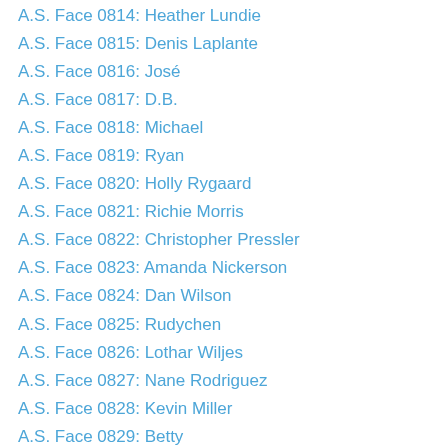A.S. Face 0814: Heather Lundie
A.S. Face 0815: Denis Laplante
A.S. Face 0816: José
A.S. Face 0817: D.B.
A.S. Face 0818: Michael
A.S. Face 0819: Ryan
A.S. Face 0820: Holly Rygaard
A.S. Face 0821: Richie Morris
A.S. Face 0822: Christopher Pressler
A.S. Face 0823: Amanda Nickerson
A.S. Face 0824: Dan Wilson
A.S. Face 0825: Rudychen
A.S. Face 0826: Lothar Wiljes
A.S. Face 0827: Nane Rodriguez
A.S. Face 0828: Kevin Miller
A.S. Face 0829: Betty
A.S. Face 0830: Sarah
A.S. Face 0831: Robert Parr
A.S. Face 0832: Cassie
A.S. Face 0833: Sally Stanfill